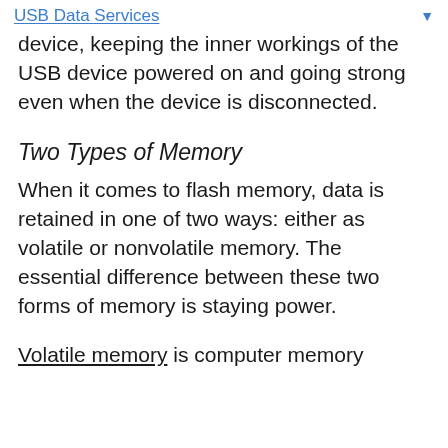USB Data Services
device, keeping the inner workings of the USB device powered on and going strong even when the device is disconnected.
Two Types of Memory
When it comes to flash memory, data is retained in one of two ways: either as volatile or nonvolatile memory. The essential difference between these two forms of memory is staying power.
Volatile memory is computer memory